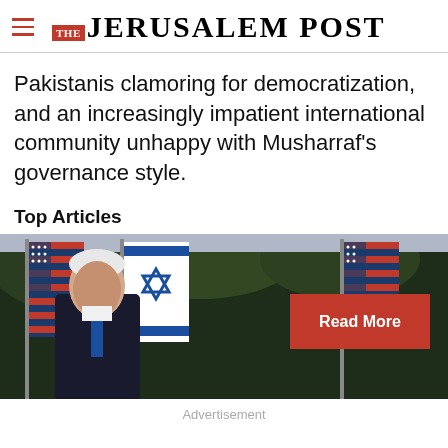THE JERUSALEM POST
Pakistanis clamoring for democratization, and an increasingly impatient international community unhappy with Musharraf's governance style.
Top Articles
[Figure (photo): Photo of an elderly man in a dark suit and tie standing in front of American and Israeli flags, with a red 'Read More' button overlay]
Advertisement